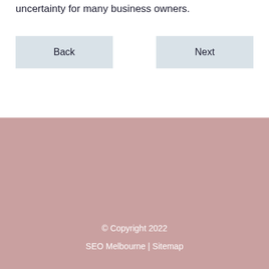uncertainty for many business owners.
Back
Next
© Copyright 2022
SEO Melbourne | Sitemap